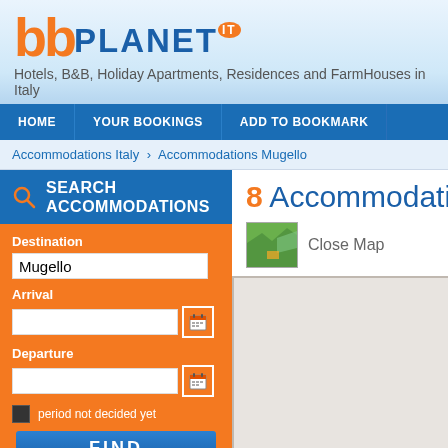[Figure (logo): bbplanet.it logo with orange 'bb' and blue 'PLANeT' text with orange 'it' badge]
Hotels, B&B, Holiday Apartments, Residences and FarmHouses in Italy
HOME | YOUR BOOKINGS | ADD TO BOOKMARK
Accommodations Italy › Accommodations Mugello
SEARCH ACCOMMODATIONS
Destination: Mugello
Arrival
Departure
period not decided yet
FIND
8 Accommodations
Close Map